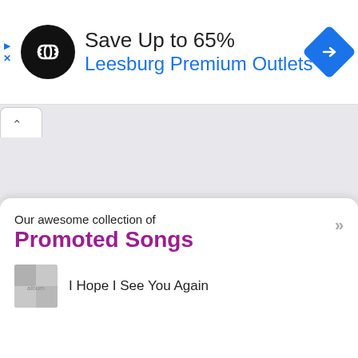[Figure (screenshot): Ad banner with black circular logo with double arrow/infinity icon, text 'Save Up to 65%' and 'Leesburg Premium Outlets' in blue, blue diamond navigation icon on the right, and small ad controls (play triangle and X) on the left.]
Save Up to 65%
Leesburg Premium Outlets
Our awesome collection of
Promoted Songs
I Hope I See You Again